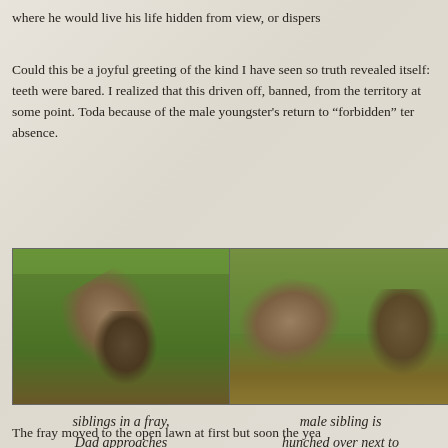where he would live his life hidden from view, or dispers
Could this be a joyful greeting of the kind I have seen so truth revealed itself: teeth were bared. I realized that this driven off, banned, from the territory at some point. Toda because of the male youngster's return to “forbidden” ter absence.
[Figure (photo): Two coyotes on grassy terrain; siblings in a fray as Dad approaches]
siblings in a fray, Dad approaches
[Figure (photo): Two coyotes on grassy terrain; male sibling is hunched over next to the female as Dad approaches]
male sibling is hunched over next to the female as Dad approaches
The fray moved to the open lawn at first but soon the yea